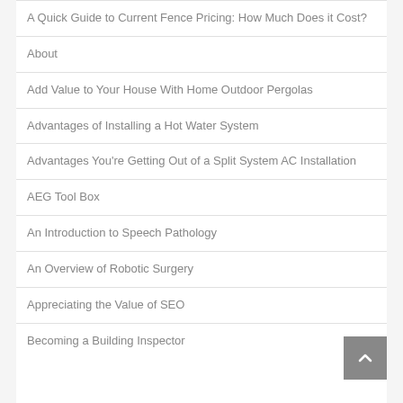A Quick Guide to Current Fence Pricing: How Much Does it Cost?
About
Add Value to Your House With Home Outdoor Pergolas
Advantages of Installing a Hot Water System
Advantages You're Getting Out of a Split System AC Installation
AEG Tool Box
An Introduction to Speech Pathology
An Overview of Robotic Surgery
Appreciating the Value of SEO
Becoming a Building Inspector